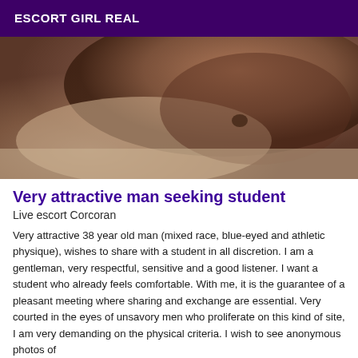ESCORT GIRL REAL
[Figure (photo): Close-up photo of a person's torso and arm, dark-skinned, lying down, partially visible body against a light background]
Very attractive man seeking student
Live escort Corcoran
Very attractive 38 year old man (mixed race, blue-eyed and athletic physique), wishes to share with a student in all discretion. I am a gentleman, very respectful, sensitive and a good listener. I want a student who already feels comfortable. With me, it is the guarantee of a pleasant meeting where sharing and exchange are essential. Very courted in the eyes of unsavory men who proliferate on this kind of site, I am very demanding on the physical criteria. I wish to see anonymous photos of